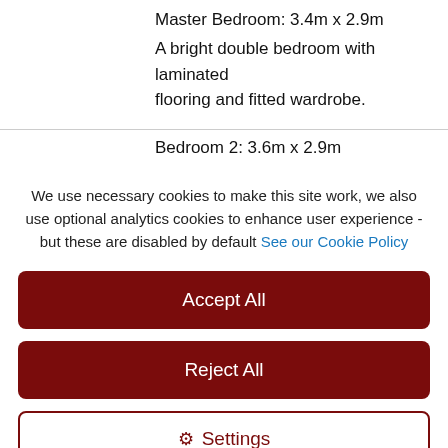Master Bedroom: 3.4m x 2.9m
A bright double bedroom with laminated flooring and fitted wardrobe.
Bedroom 2: 3.6m x 2.9m
We use necessary cookies to make this site work, we also use optional analytics cookies to enhance user experience - but these are disabled by default See our Cookie Policy
Accept All
Reject All
Settings